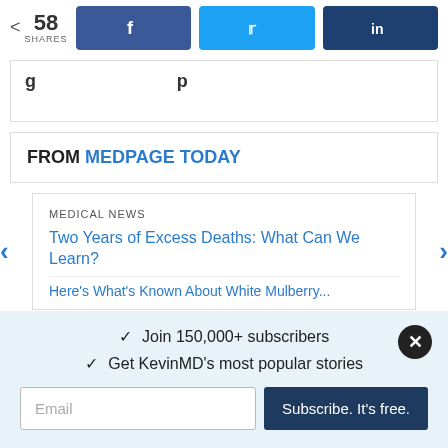58 SHARES | Facebook share | Twitter share | LinkedIn share
[partial heading text visible at top]
FROM MEDPAGE TODAY
MEDICAL NEWS
Two Years of Excess Deaths: What Can We Learn?
Here's What's Known About White Mulberry...
✓ Join 150,000+ subscribers
✓ Get KevinMD's most popular stories
Email | Subscribe. It's free.